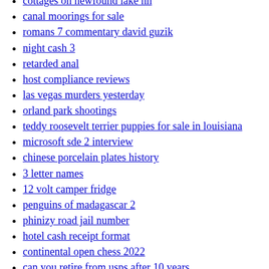topic breaking me
cottages on newfound lake nh
canal moorings for sale
romans 7 commentary david guzik
night cash 3
retarded anal
host compliance reviews
las vegas murders yesterday
orland park shootings
teddy roosevelt terrier puppies for sale in louisiana
microsoft sde 2 interview
chinese porcelain plates history
3 letter names
12 volt camper fridge
penguins of madagascar 2
phinizy road jail number
hotel cash receipt format
continental open chess 2022
can you retire from usps after 10 years
our tribe of many new baby
the stage act 3
charity golf tournaments massachusetts 2021
effectiveness of police crisis intervention training programs
pustule popped on its own
sc300 manual transmission name